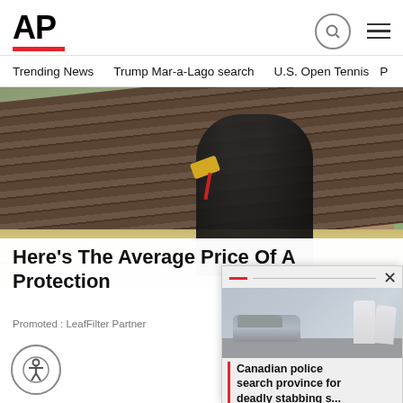[Figure (logo): AP (Associated Press) logo in bold black text with red underline bar]
Trending News   Trump Mar-a-Lago search   U.S. Open Tennis
[Figure (photo): A person in a black hoodie jacket working on a roof gutter with a power tool, on a residential house roof with brown shingles]
Here's The Average Price Of A Protection
Promoted : LeafFilter Partner
[Figure (photo): Popup overlay showing a car and forensic investigators in white suits at a crime scene]
Canadian police search province for deadly stabbing s...